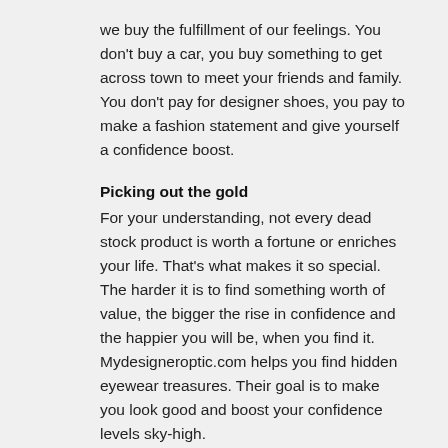we buy the fulfillment of our feelings. You don't buy a car, you buy something to get across town to meet your friends and family. You don't pay for designer shoes, you pay to make a fashion statement and give yourself a confidence boost.
Picking out the gold
For your understanding, not every dead stock product is worth a fortune or enriches your life. That's what makes it so special. The harder it is to find something worth of value, the bigger the rise in confidence and the happier you will be, when you find it. Mydesigneroptic.com helps you find hidden eyewear treasures. Their goal is to make you look good and boost your confidence levels sky-high.